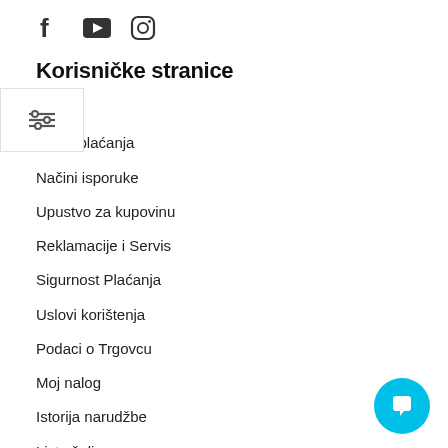[Figure (infographic): Social media icons: Facebook, YouTube, Instagram]
Korisničke stranice
ama
Način plaćanja
Načini isporuke
Upustvo za kupovinu
Reklamacije i Servis
Sigurnost Plaćanja
Uslovi korištenja
Podaci o Trgovcu
Moj nalog
Istorija narudžbe
Lista želja
Korpa
Prijava kvara (servis)
Kontakt